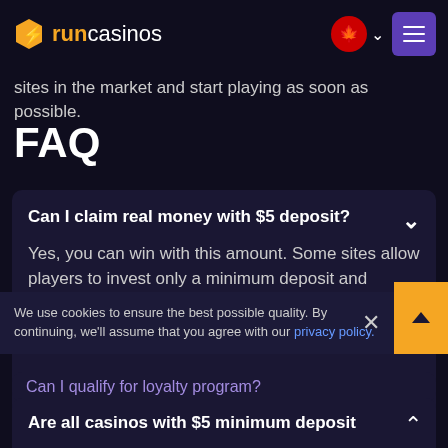runcasinos
sites in the market and start playing as soon as possible.
FAQ
Can I claim real money with $5 deposit?
Yes, you can win with this amount. Some sites allow players to invest only a minimum deposit and access top games. This enables you to try different titles, claim welcome offers and real
We use cookies to ensure the best possible quality. By continuing, we'll assume that you agree with our privacy policy.
Can I qualify for loyalty program?
Are all casinos with $5 minimum deposit